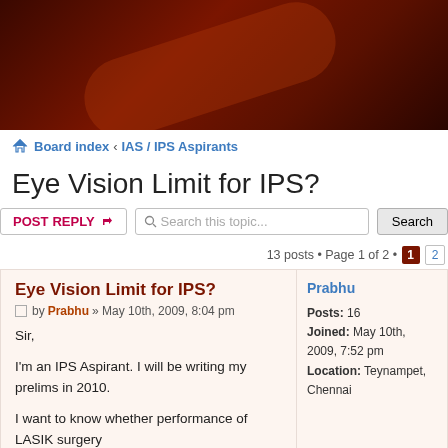[Figure (photo): Dark reddish-brown banner image with subtle diagonal light reflection]
Board index ‹ IAS / IPS Aspirants
Eye Vision Limit for IPS?
13 posts • Page 1 of 2 • 1 2
Eye Vision Limit for IPS?
by Prabhu » May 10th, 2009, 8:04 pm
Sir,

I'm an IPS Aspirant. I will be writing my prelims in 2010.

I want to know whether performance of LASIK surgery
Prabhu
Posts: 16
Joined: May 10th, 2009, 7:52 pm
Location: Teynampet, Chennai